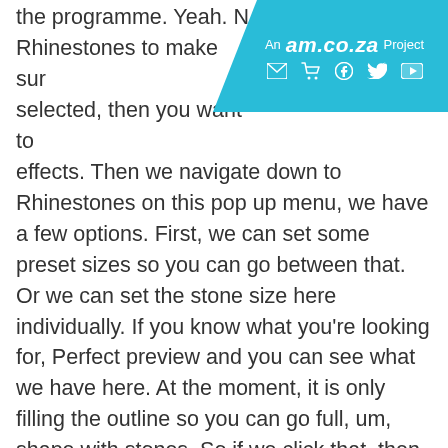An am.co.za Project
the programme. Yeah. Rhinestones to make sure selected, then you want to effects. Then we navigate down to Rhinestones on this pop up menu, we have a few options. First, we can set some preset sizes so you can go between that. Or we can set the stone size here individually. If you know what you're looking for, Perfect preview and you can see what we have here. At the moment, it is only filling the outline so you can go full, um, shape with stones. So if we click that, then it will fully entire shape then, uh, under that we've got your stone spacing. So that's the space between the stones. If we go just to the outline and we set to something like four now, you can see the spacing is way more again we have the stone amount here. Sorry. So the stone types and then the stone count on top year. Then